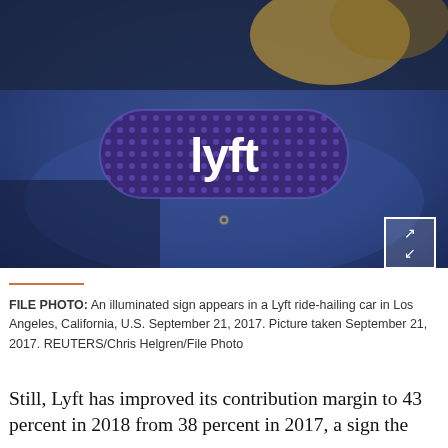[Figure (photo): FILE PHOTO: Close-up of an illuminated Lyft sign/logo on top of a ride-hailing car. The pill-shaped sign features the 'lyft' wordmark in white on a purple/dark blue dotted background, mounted on a blue car hood.]
FILE PHOTO: An illuminated sign appears in a Lyft ride-hailing car in Los Angeles, California, U.S. September 21, 2017. Picture taken September 21, 2017. REUTERS/Chris Helgren/File Photo
Still, Lyft has improved its contribution margin to 43 percent in 2018 from 38 percent in 2017, a sign the